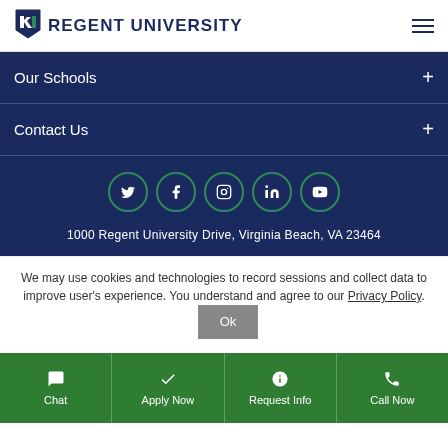[Figure (logo): Regent University logo with shield icon and text]
Our Schools
Contact Us
[Figure (infographic): Social media icons: Twitter, Facebook, Instagram, LinkedIn, YouTube in green-bordered circles]
1000 Regent University Drive, Virginia Beach, VA 23464
We may use cookies and technologies to record sessions and collect data to improve user's experience. You understand and agree to our Privacy Policy.
Chat
Apply Now
Request Info
Call Now